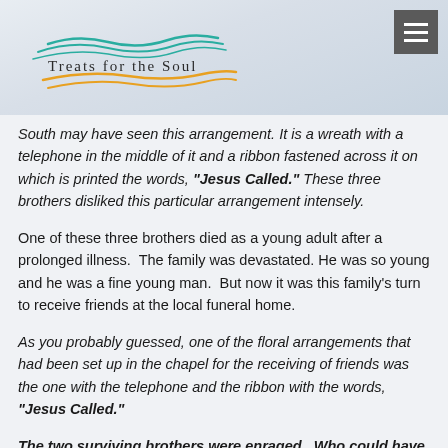Treats for the Soul
South may have seen this arrangement. It is a wreath with a telephone in the middle of it and a ribbon fastened across it on which is printed the words, "Jesus Called." These three brothers disliked this particular arrangement intensely.
One of these three brothers died as a young adult after a prolonged illness. The family was devastated. He was so young and he was a fine young man. But now it was this family's turn to receive friends at the local funeral home.
As you probably guessed, one of the floral arrangements that had been set up in the chapel for the receiving of friends was the one with the telephone and the ribbon with the words, "Jesus Called."
The two surviving brothers were enraged. Who could have